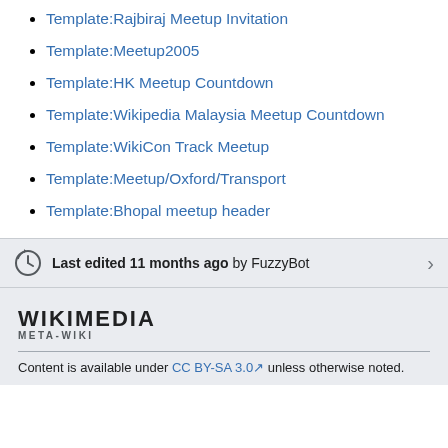Template:Rajbiraj Meetup Invitation
Template:Meetup2005
Template:HK Meetup Countdown
Template:Wikipedia Malaysia Meetup Countdown
Template:WikiCon Track Meetup
Template:Meetup/Oxford/Transport
Template:Bhopal meetup header
Last edited 11 months ago by FuzzyBot
WIKIMEDIA
META-WIKI
Content is available under CC BY-SA 3.0 unless otherwise noted.